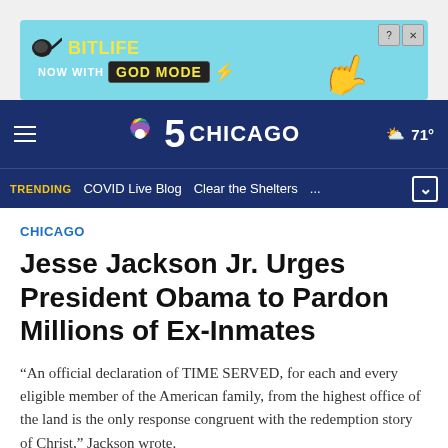[Figure (screenshot): BitLife advertisement banner: teal/cyan background with logo showing 'BitLife' in yellow bold text, 'NOW WITH GOD MODE' in dark box with lightning bolt, and a pointing hand cartoon on the right. Close (X) and help (?) buttons in top-right corner.]
NBC 5 Chicago — navigation bar with hamburger menu, NBC peacock logo, '5 CHICAGO' branding, weather icon showing partly cloudy 71°. Trending bar below with: TRENDING | COVID Live Blog | Clear the Shelters | ... | chevron dropdown
CHICAGO
Jesse Jackson Jr. Urges President Obama to Pardon Millions of Ex-Inmates
“An official declaration of TIME SERVED, for each and every eligible member of the American family, from the highest office of the land is the only response congruent with the redemption story of Christ,” Jackson wrote.